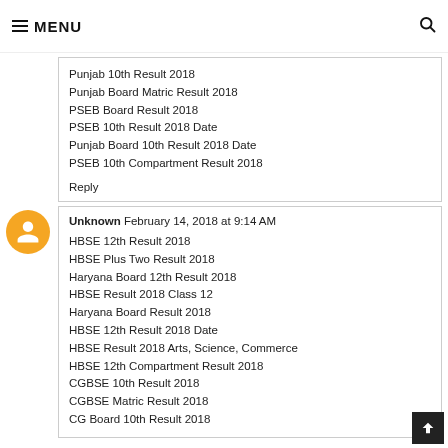≡ MENU
Punjab 10th Result 2018
Punjab Board Matric Result 2018
PSEB Board Result 2018
PSEB 10th Result 2018 Date
Punjab Board 10th Result 2018 Date
PSEB 10th Compartment Result 2018
Reply
Unknown  February 14, 2018 at 9:14 AM
HBSE 12th Result 2018
HBSE Plus Two Result 2018
Haryana Board 12th Result 2018
HBSE Result 2018 Class 12
Haryana Board Result 2018
HBSE 12th Result 2018 Date
HBSE Result 2018 Arts, Science, Commerce
HBSE 12th Compartment Result 2018
CGBSE 10th Result 2018
CGBSE Matric Result 2018
CG Board 10th Result 2018